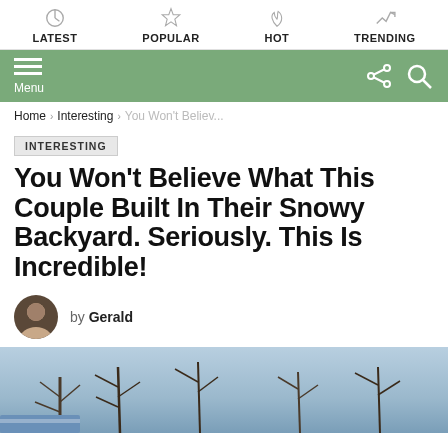LATEST | POPULAR | HOT | TRENDING
Menu
Home › Interesting › You Won't Believ...
INTERESTING
You Won't Believe What This Couple Built In Their Snowy Backyard. Seriously. This Is Incredible!
by Gerald
[Figure (photo): Outdoor winter scene showing snow-covered trees against a cloudy sky, partial view of a structure at bottom left]